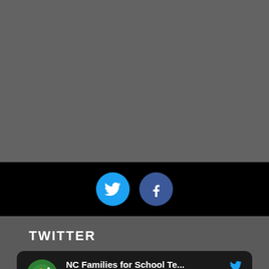[Figure (screenshot): Gray background area (top portion of page, cropped content above)]
[Figure (infographic): Black bar with Twitter (cyan circle with bird) and Facebook (dark blue circle with f) social media share buttons]
TWITTER
[Figure (screenshot): Tweet card on dark background showing NC Families for School Te... account (@NCTestingReform · May 24) with green/yellow circular logo avatar and Twitter bird icon]